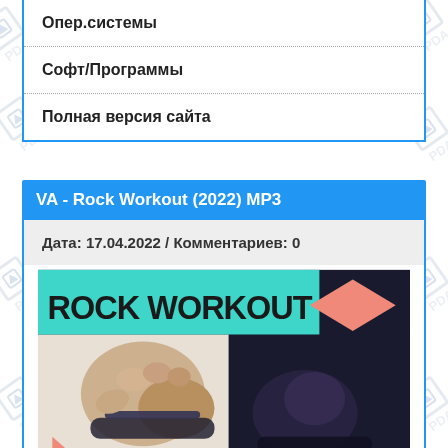Опер.системы
Софт/Программы
Полная версия сайта
VA - Rock Workout (2022) MP3
Дата: 17.04.2022 / Комментариев: 0
[Figure (illustration): Rock Workout album cover with teal header text 'ROCK WORKOUT', pink diamond shape, and image of hands gripping weights/dumbbells on a dark background with a pink upward triangle at the bottom left.]